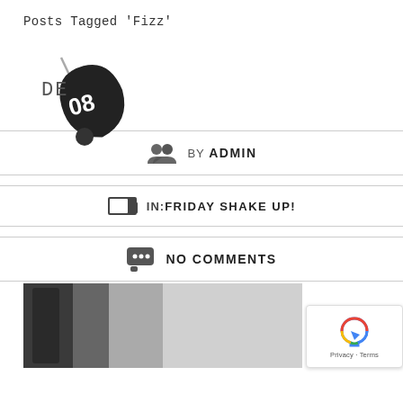Posts Tagged 'Fizz'
[Figure (illustration): Date badge with 'DE' text and drop/pin shape showing '08']
BY ADMIN
IN:FRIDAY SHAKE UP!
NO COMMENTS
[Figure (photo): Partial photo of a dark bottle against a light background, bottom of page]